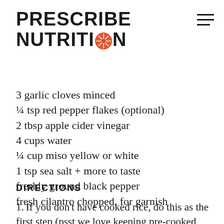[Figure (logo): Prescribe Nutrition logo with orange citrus slice replacing the O in NUTRITION]
3 garlic cloves minced
¼ tsp red pepper flakes (optional)
2 tbsp apple cider vinegar
4 cups water
¼ cup miso yellow or white
1 tsp sea salt + more to taste
freshly ground black pepper
fresh cilantro chopped, for garnish
DIRECTIONS
1. If you don't have cooked rice, do this as the first step (psst we love keeping pre-cooked frozen rice in the freezer!)